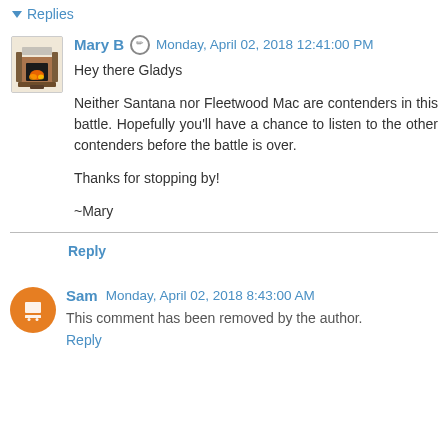▼ Replies
Mary B  Monday, April 02, 2018 12:41:00 PM
Hey there Gladys

Neither Santana nor Fleetwood Mac are contenders in this battle. Hopefully you'll have a chance to listen to the other contenders before the battle is over.

Thanks for stopping by!

~Mary
Reply
Sam  Monday, April 02, 2018 8:43:00 AM
This comment has been removed by the author.
Reply